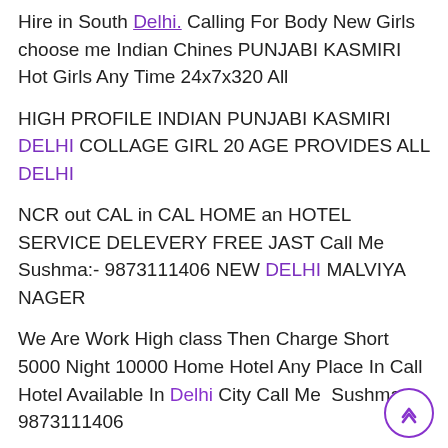Hire in South Delhi. Calling For Body New Girls choose me Indian Chines PUNJABI KASMIRI Hot Girls Any Time 24x7x320 All
HIGH PROFILE INDIAN PUNJABI KASMIRI DELHI COLLAGE GIRL 20 AGE PROVIDES ALL DELHI
NCR out CAL in CAL HOME an HOTEL SERVICE DELEVERY FREE JAST Call Me Sushma:- 9873111406 NEW DELHI MALVIYA NAGER
We Are Work High class Then Charge Short 5000 Night 10000 Home Hotel Any Place In Call Hotel Available In Delhi City Call Me  Sushma:- 9873111406
SEX STYELS.
1. Oral sex without condom
2. with condom* French kiss